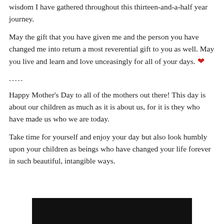wisdom I have gathered throughout this thirteen-and-a-half year journey.
May the gift that you have given me and the person you have changed me into return a most reverential gift to you as well. May you live and learn and love unceasingly for all of your days. ❤
.....
Happy Mother's Day to all of the mothers out there! This day is about our children as much as it is about us, for it is they who have made us who we are today.
Take time for yourself and enjoy your day but also look humbly upon your children as beings who have changed your life forever in such beautiful, intangible ways.
[Figure (photo): Dark image strip at the bottom of the page]